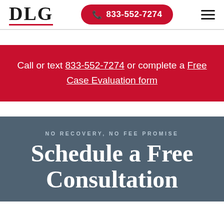DLG | 833-552-7274
Call or text 833-552-7274 or complete a Free Case Evaluation form
NO RECOVERY, NO FEE PROMISE
Schedule a Free Consultation